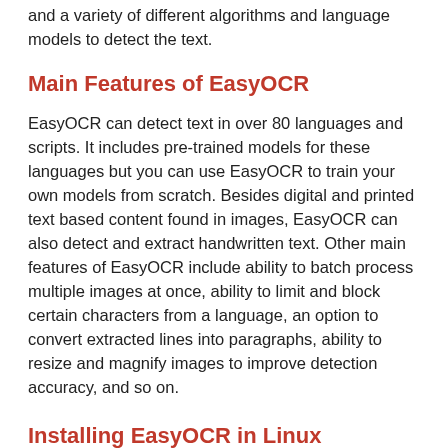and a variety of different algorithms and language models to detect the text.
Main Features of EasyOCR
EasyOCR can detect text in over 80 languages and scripts. It includes pre-trained models for these languages but you can use EasyOCR to train your own models from scratch. Besides digital and printed text based content found in images, EasyOCR can also detect and extract handwritten text. Other main features of EasyOCR include ability to batch process multiple images at once, ability to limit and block certain characters from a language, an option to convert extracted lines into paragraphs, ability to resize and magnify images to improve detection accuracy, and so on.
Installing EasyOCR in Linux
You can install EasyOCR in Linux using the pip package manager. To install...